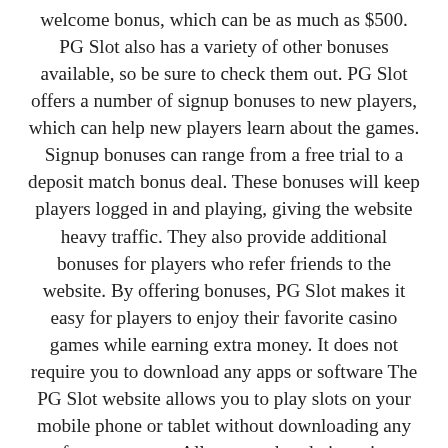welcome bonus, which can be as much as $500. PG Slot also has a variety of other bonuses available, so be sure to check them out. PG Slot offers a number of signup bonuses to new players, which can help new players learn about the games. Signup bonuses can range from a free trial to a deposit match bonus deal. These bonuses will keep players logged in and playing, giving the website heavy traffic. They also provide additional bonuses for players who refer friends to the website. By offering bonuses, PG Slot makes it easy for players to enjoy their favorite casino games while earning extra money. It does not require you to download any apps or software The PG Slot website allows you to play slots on your mobile phone or tablet without downloading any software or apps. All you need to do is register with a member ID and begin playing immediately. Once you've signed up, you can play for free or for real money and can even play with your friends in real time. This makes PG Slot one of the best online casinos to play slots on. The